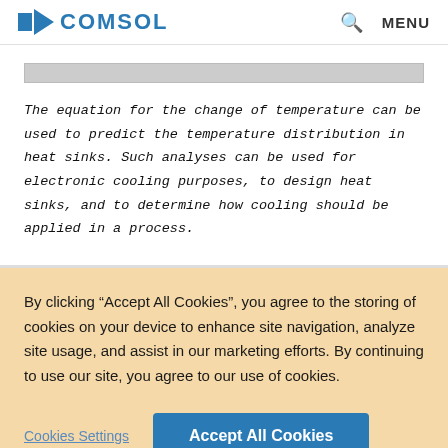COMSOL  MENU
[Figure (other): Partial image placeholder bar at top of content area]
The equation for the change of temperature can be used to predict the temperature distribution in heat sinks. Such analyses can be used for electronic cooling purposes, to design heat sinks, and to determine how cooling should be applied in a process.
By clicking “Accept All Cookies”, you agree to the storing of cookies on your device to enhance site navigation, analyze site usage, and assist in our marketing efforts. By continuing to use our site, you agree to our use of cookies.
Cookies Settings | Accept All Cookies